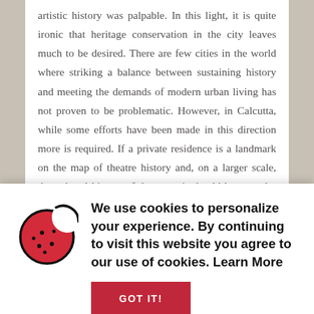artistic history was palpable. In this light, it is quite ironic that heritage conservation in the city leaves much to be desired. There are few cities in the world where striking a balance between sustaining history and meeting the demands of modern urban living has not proven to be problematic. However, in Calcutta, while some efforts have been made in this direction more is required. If a private residence is a landmark on the map of theatre history and, on a larger scale, the cultural history of the state, it should be named a heritage
We use cookies to personalize your experience. By continuing to visit this website you agree to our use of cookies. Learn More
GOT IT!